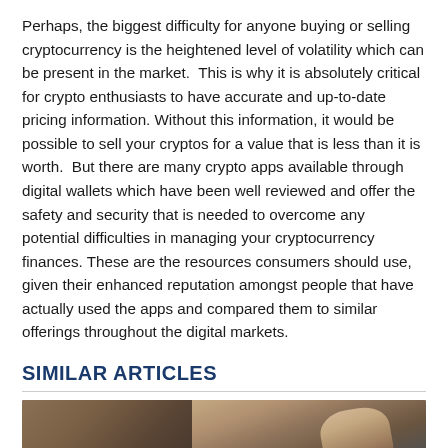Perhaps, the biggest difficulty for anyone buying or selling cryptocurrency is the heightened level of volatility which can be present in the market. This is why it is absolutely critical for crypto enthusiasts to have accurate and up-to-date pricing information. Without this information, it would be possible to sell your cryptos for a value that is less than it is worth. But there are many crypto apps available through digital wallets which have been well reviewed and offer the safety and security that is needed to overcome any potential difficulties in managing your cryptocurrency finances. These are the resources consumers should use, given their enhanced reputation amongst people that have actually used the apps and compared them to similar offerings throughout the digital markets.
SIMILAR ARTICLES
[Figure (photo): A photograph showing what appears to be a gavel or wooden object on the left and a hand holding a coin on the right, likely related to cryptocurrency or legal/financial topics.]